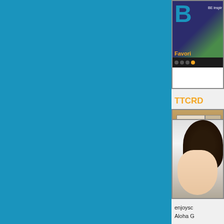[Figure (screenshot): Partial view of a blog or website sidebar on teal/blue background. Right panel shows three thumbnails with text labels. Top thumbnail shows a logo with large blue letter 'B', text 'BE inspir...' and 'Favori...' in orange, with navigation dots at bottom. Middle section shows text 'TTCRD' in orange. Second thumbnail shows a room interior screenshot. Third section shows 'A Littl' text. Bottom thumbnail shows a black-haired person portrait. Text labels 'enjoysc' and 'Aloha G' appear at bottom right.]